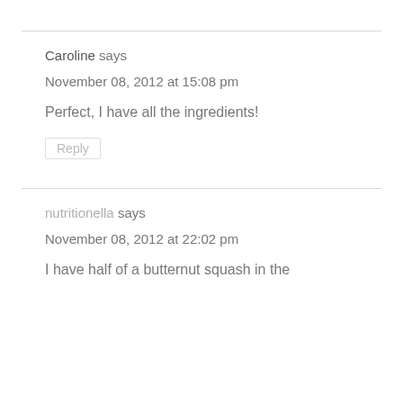Caroline says
November 08, 2012 at 15:08 pm
Perfect, I have all the ingredients!
Reply
nutritionella says
November 08, 2012 at 22:02 pm
I have half of a butternut squash in the